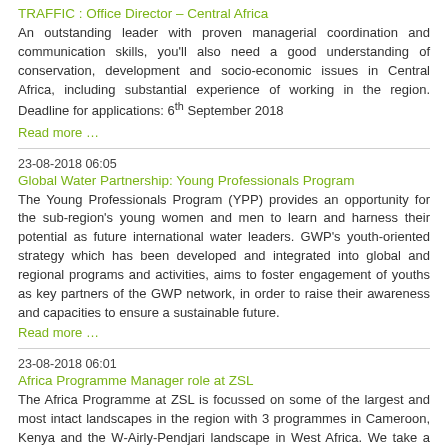TRAFFIC : Office Director – Central Africa
An outstanding leader with proven managerial coordination and communication skills, you'll also need a good understanding of conservation, development and socio-economic issues in Central Africa, including substantial experience of working in the region. Deadline for applications: 6th September 2018
Read more …
23-08-2018 06:05
Global Water Partnership: Young Professionals Program
The Young Professionals Program (YPP) provides an opportunity for the sub-region's young women and men to learn and harness their potential as future international water leaders. GWP's youth-oriented strategy which has been developed and integrated into global and regional programs and activities, aims to foster engagement of youths as key partners of the GWP network, in order to raise their awareness and capacities to ensure a sustainable future.
Read more …
23-08-2018 06:01
Africa Programme Manager role at ZSL
The Africa Programme at ZSL is focussed on some of the largest and most intact landscapes in the region with 3 programmes in Cameroon, Kenya and the W-Airly-Pendjari landscape in West Africa. We take a landscape approach to our work with protected areas and communities at the core of this. Our diverse portfolio of projects cover freshwater, mangrove, savannah and tropical forest ecosystems and a range of threatened species from black rhino, elephants and lions to manatees, turtles and pangolins. Closing date for applications: Midnight Sunday 9th September 2018.
Read more …